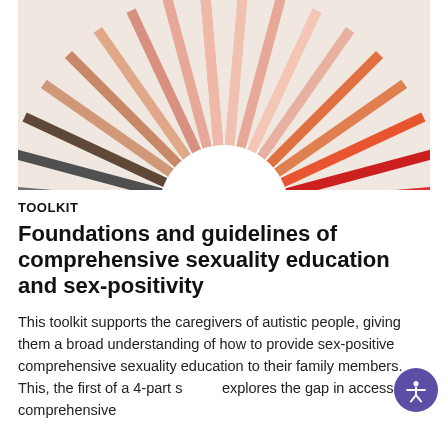[Figure (photo): Overhead close-up of colorful pencils arranged in a circular/fan pattern with their tips pointing inward toward the center, forming a rainbow wheel on a white background.]
TOOLKIT
Foundations and guidelines of comprehensive sexuality education and sex-positivity
This toolkit supports the caregivers of autistic people, giving them a broad understanding of how to provide sex-positive comprehensive sexuality education to their family members. This, the first of a 4-part series, explores the gap in access to comprehensive